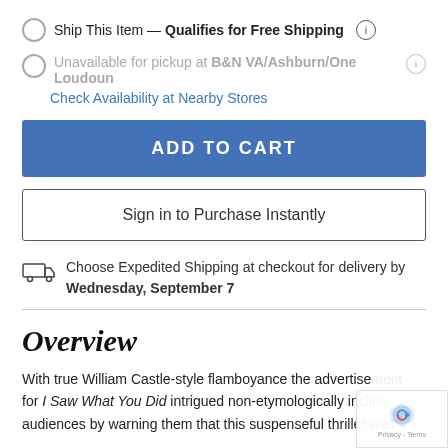Ship This Item — Qualifies for Free Shipping (i)
Unavailable for pickup at B&N VA/Ashburn/One Loudoun (i)
Check Availability at Nearby Stores
ADD TO CART
Sign in to Purchase Instantly
Choose Expedited Shipping at checkout for delivery by Wednesday, September 7
Overview
With true William Castle-style flamboyance the advertisement for I Saw What You Did intrigued non-etymologically inclined audiences by warning them that this suspenseful thriller was